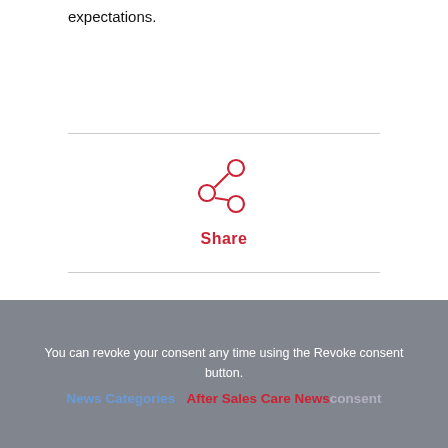expectations.
[Figure (other): Share icon: a network/share symbol in red with three circles connected by lines, centered on the page]
Share
You can revoke your consent any time using the Revoke consent button.
News Categories   After Sales Care News   Revoke consent